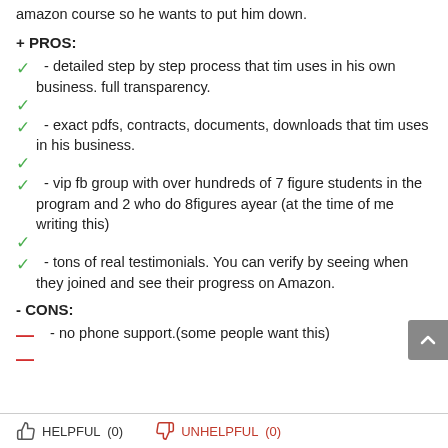amazon course so he wants to put him down.
+ PROS:
- detailed step by step process that tim uses in his own business. full transparency.
- exact pdfs, contracts, documents, downloads that tim uses in his business.
- vip fb group with over hundreds of 7 figure students in the program and 2 who do 8figures ayear (at the time of me writing this)
- tons of real testimonials. You can verify by seeing when they joined and see their progress on Amazon.
- CONS:
- no phone support.(some people want this)
HELPFUL (0)    UNHELPFUL (0)